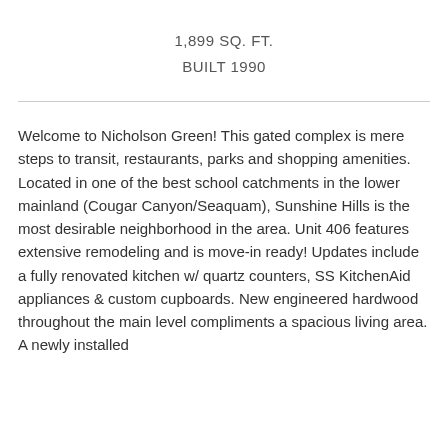1,899 SQ. FT.
BUILT 1990
Welcome to Nicholson Green! This gated complex is mere steps to transit, restaurants, parks and shopping amenities. Located in one of the best school catchments in the lower mainland (Cougar Canyon/Seaquam), Sunshine Hills is the most desirable neighborhood in the area. Unit 406 features extensive remodeling and is move-in ready! Updates include a fully renovated kitchen w/ quartz counters, SS KitchenAid appliances & custom cupboards. New engineered hardwood throughout the main level compliments a spacious living area. A newly installed